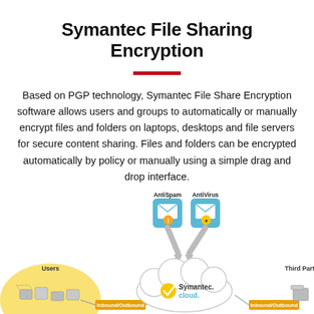Symantec File Sharing Encryption
Based on PGP technology, Symantec File Share Encryption software allows users and groups to automatically or manually encrypt files and folders on laptops, desktops and file servers for secure content sharing. Files and folders can be encrypted automatically by policy or manually using a simple drag and drop interface.
[Figure (infographic): Network diagram showing Users on the left with a yellow glow, Inbound/Outbound arrows, AntiSpam and AntiVirus icons at the top center, a Symantec.cloud cloud in the center, another Inbound/Outbound arrow to the right, and Third Party on the far right.]